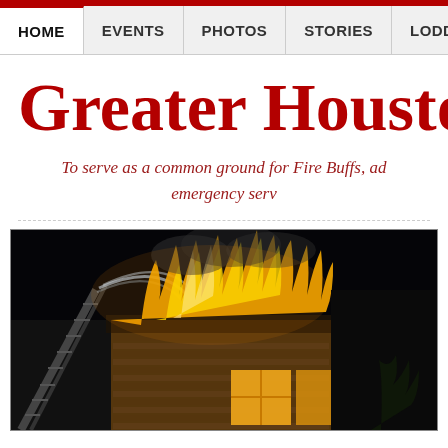Navigation: HOME | EVENTS | PHOTOS | STORIES | LODD | M...
Greater Houston
To serve as a common ground for Fire Buffs, ad... emergency serv...
[Figure (photo): Night fire scene showing a building engulfed in flames with a ladder truck visible on the left side, water being sprayed onto the roof.]